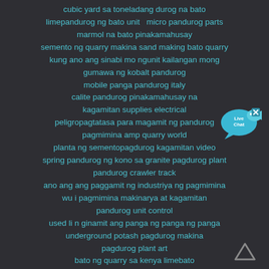cubic yard sa toneladang durog na bato
limepandurog ng bato unit   micro pandurog parts
marmol na bato pinakamahusay
semento ng quarry makina sand making bato quarry
kung ano ang sinabi mo ngunit kailangan mong gumawa ng kobalt pandurog
mobile panga pandurog italy
calite pandurog pinakamahusay na kagamitan supplies electrical
peligropagtatasa para magamit ng pandurog
pagmimina amp quarry world
planta ng sementopagdurog kagamitan video
spring pandurog ng kono sa granite pagdurog plant
pandurog crawler track
ano ang ang paggamit ng industriya ng pagmimina
wu i pagmimina makinarya at kagamitan
pandurog unit control
used li n ginamit ang panga ng panga ng panga
underground potash pagdurog makina
pagdurog plant art
bato ng quarry sa kenya limebato
[Figure (illustration): Live Chat bubble icon with blue speech bubble and fish graphic, with X close button]
[Figure (illustration): Up arrow / back-to-top chevron icon in grey]